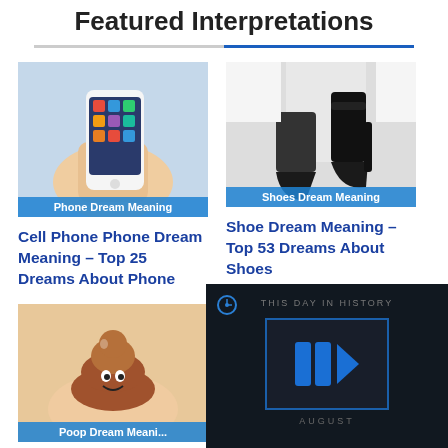Featured Interpretations
[Figure (photo): Hand holding a smartphone with apps visible, labeled 'Phone Dream Meaning']
Cell Phone Phone Dream Meaning – Top 25 Dreams About Phone
[Figure (photo): Person holding high heel shoes, labeled 'Shoes Dream Meaning']
Shoe Dream Meaning – Top 53 Dreams About Shoes
[Figure (photo): Poop emoji cookie on a hand, labeled 'Poop Dream Meani...']
Poop Dream Meaning – Top...
[Figure (screenshot): Dark video overlay showing 'THIS DAY IN HISTORY' with blue play button logo and AUGUST text, mute icon visible]